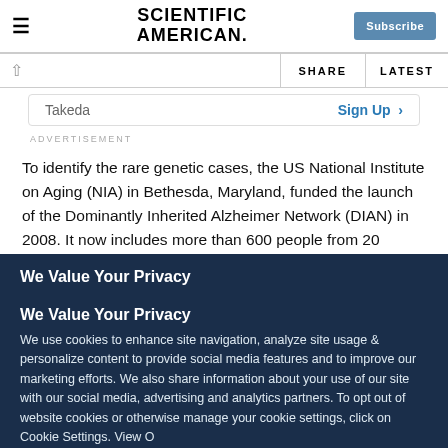SCIENTIFIC AMERICAN.
SHARE   LATEST
Takeda   Sign Up >
ADVERTISEMENT
To identify the rare genetic cases, the US National Institute on Aging (NIA) in Bethesda, Maryland, funded the launch of the Dominantly Inherited Alzheimer Network (DIAN) in 2008. It now includes more than 600 people from 20 countries, representing around 300 families who have mutations in one of
We Value Your Privacy
We use cookies to enhance site navigation, analyze site usage & personalize content to provide social media features and to improve our marketing efforts. We also share information about your use of our site with our social media, advertising and analytics partners. To opt out of website cookies or otherwise manage your cookie settings, click on Cookie Settings. View O